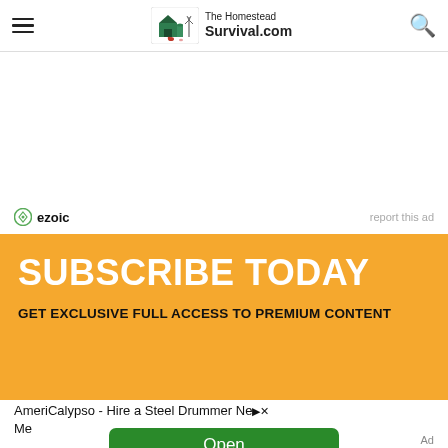The Homestead Survival.com
[Figure (logo): The Homestead Survival logo — green barn with red cow, windmill, text 'The Homestead Survival']
ezoic   report this ad
SUBSCRIBE TODAY
GET EXCLUSIVE FULL ACCESS TO PREMIUM CONTENT
AmeriCalypso - Hire a Steel Drummer Near Me
Open
Ad